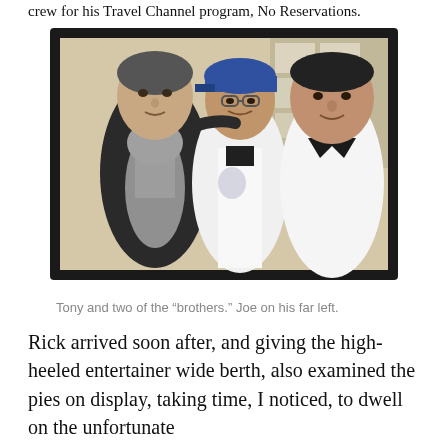crew for his Travel Channel program, No Reservations.
[Figure (photo): A framed photograph on a wall showing three men posing together in what appears to be a kitchen or restaurant setting. The man on the left is tall, wearing a dark jacket and gray scarf. The man in the middle wears a white chef's coat and a blue baseball cap. The man on the right wears a white shirt with a dark collar.]
Tony and two of the “brothers.” Joe on his far left.
Rick arrived soon after, and giving the high-heeled entertainer wide berth, also examined the pies on display, taking time, I noticed, to dwell on the unfortunate